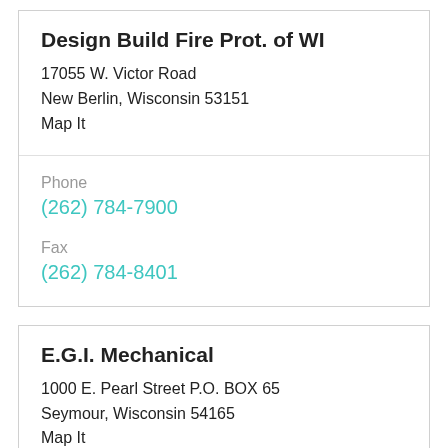Design Build Fire Prot. of WI
17055 W. Victor Road
New Berlin, Wisconsin 53151
Map It
Phone
(262) 784-7900
Fax
(262) 784-8401
E.G.I. Mechanical
1000 E. Pearl Street P.O. BOX 65
Seymour, Wisconsin 54165
Map It
Phone